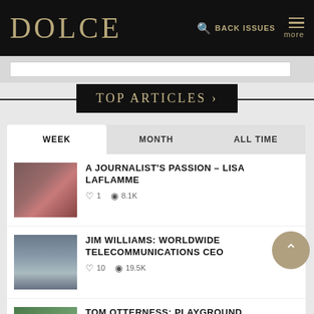DOLCE  BACK ISSUES  more
TOP ARTICLES
WEEK  MONTH  ALL TIME
A JOURNALIST'S PASSION – LISA LAFLAMME
♡ 1   👁 8.1K
JIM WILLIAMS: WORLDWIDE TELECOMMUNICATIONS CEO
♡ 10   👁 19.5K
TOM OTTERNESS: PLAYGROUND...